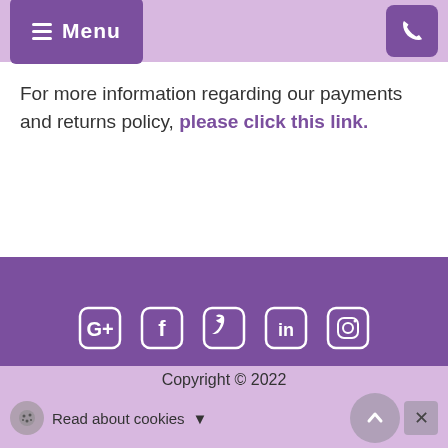Menu | [phone icon]
For more information regarding our payments and returns policy, please click this link.
[Figure (infographic): Social media icons row: Google+, Facebook, Twitter, LinkedIn, Instagram on purple background]
The Old Jewellery Box Shop
Copyright © 2022 | Read about cookies | [back to top] [close]